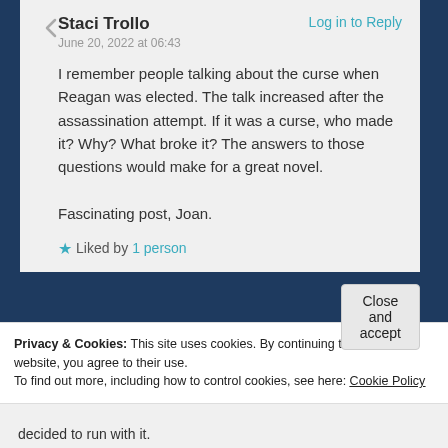Staci Trollo
Log in to Reply
June 20, 2022 at 06:43
I remember people talking about the curse when Reagan was elected. The talk increased after the assassination attempt. If it was a curse, who made it? Why? What broke it? The answers to those questions would make for a great novel.

Fascinating post, Joan.
Liked by 1 person
Privacy & Cookies: This site uses cookies. By continuing to use this website, you agree to their use.
To find out more, including how to control cookies, see here: Cookie Policy
Close and accept
decided to run with it.